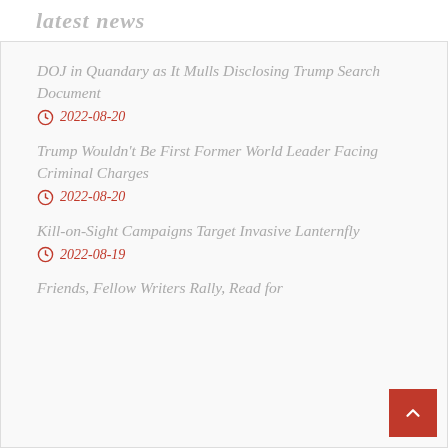latest news
DOJ in Quandary as It Mulls Disclosing Trump Search Document
2022-08-20
Trump Wouldn't Be First Former World Leader Facing Criminal Charges
2022-08-20
Kill-on-Sight Campaigns Target Invasive Lanternfly
2022-08-19
Friends, Fellow Writers Rally, Read for